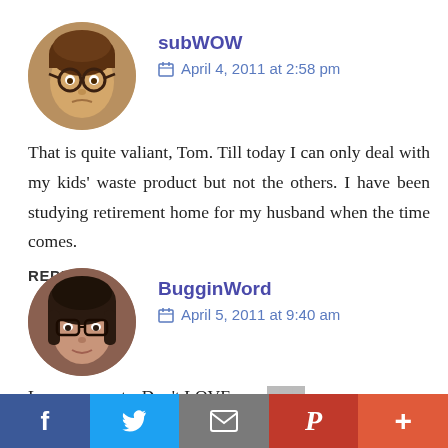subWOW
April 4, 2011 at 2:58 pm
That is quite valiant, Tom. Till today I can only deal with my kids' waste product but not the others. I have been studying retirement home for my husband when the time comes.
REPLY
[Figure (photo): Round avatar photo of a child with glasses]
BugginWord
April 5, 2011 at 9:40 am
Love your pets. Don't LOVE your
[Figure (screenshot): Social sharing bar with Facebook, Twitter, Email, Pinterest, and plus buttons]